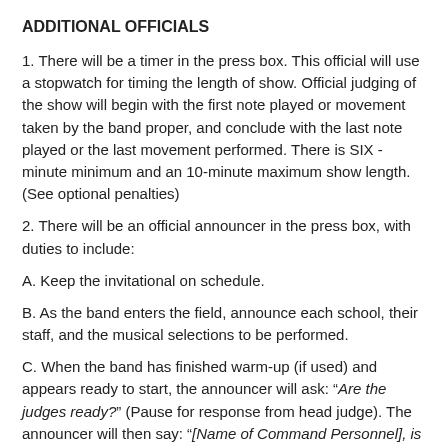ADDITIONAL OFFICIALS
1. There will be a timer in the press box. This official will use a stopwatch for timing the length of show. Official judging of the show will begin with the first note played or movement taken by the band proper, and conclude with the last note played or the last movement performed. There is SIX -minute minimum and an 10-minute maximum show length. (See optional penalties)
2. There will be an official announcer in the press box, with duties to include:
A. Keep the invitational on schedule.
B. As the band enters the field, announce each school, their staff, and the musical selections to be performed.
C. When the band has finished warm-up (if used) and appears ready to start, the announcer will ask: “Are the judges ready?” (Pause for response from head judge). The announcer will then say: “[Name of Command Personnel], is your band ready?” (Command Personnel will